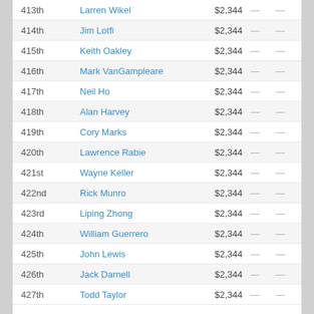| Place | Country | Name | Prize |  |  |
| --- | --- | --- | --- | --- | --- |
| 413th | US | Larren Wikel | $2,344 | — | — |
| 414th | US | Jim Lotfi | $2,344 | — | — |
| 415th | US | Keith Oakley | $2,344 | — | — |
| 416th | US | Mark VanGampleare | $2,344 | — | — |
| 417th | US | Neil Ho | $2,344 | — | — |
| 418th | CA | Alan Harvey | $2,344 | — | — |
| 419th | CA | Cory Marks | $2,344 | — | — |
| 420th | CA | Lawrence Rabie | $2,344 | — | — |
| 421st | US | Wayne Keller | $2,344 | — | — |
| 422nd | US | Rick Munro | $2,344 | — | — |
| 423rd | US | Liping Zhong | $2,344 | — | — |
| 424th | US | William Guerrero | $2,344 | — | — |
| 425th | US | John Lewis | $2,344 | — | — |
| 426th | US | Jack Darnell | $2,344 | — | — |
| 427th | US | Todd Taylor | $2,344 | — | — |